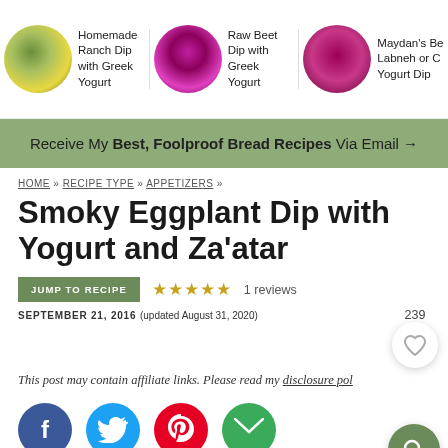[Figure (screenshot): Top banner with three recipe thumbnails: Homemade Ranch Dip with Greek Yogurt, Raw Beet Dip with Greek Yogurt, Maydan's Be... Labneh or... Yogurt Dip]
Receive My Best, Foolproof Bread Recipes Via Email →
HOME » RECIPE TYPE » APPETIZERS »
Smoky Eggplant Dip with Yogurt and Za'atar
JUMP TO RECIPE ★★★★★ 1 reviews
SEPTEMBER 21, 2016 (updated August 31, 2020)
This post may contain affiliate links. Please read my disclosure pol...
239
[Figure (screenshot): Social sharing buttons: Facebook (blue), Twitter (light blue), Pinterest (red), Email (green)]
[Figure (photo): Bottom portion of a food photo visible at the bottom of the page]